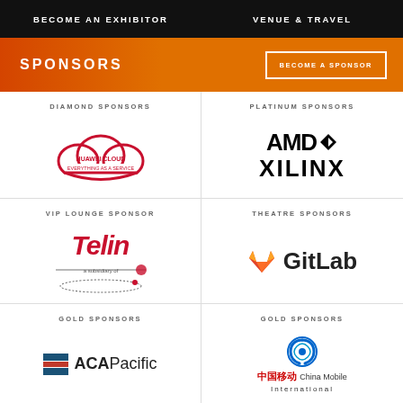BECOME AN EXHIBITOR | VENUE & TRAVEL
SPONSORS
BECOME A SPONSOR
DIAMOND SPONSORS
[Figure (logo): Huawei Cloud - Everything as a Service logo with red cloud outline]
PLATINUM SPONSORS
[Figure (logo): AMD Xilinx logo]
VIP LOUNGE SPONSOR
[Figure (logo): Telin logo in red italic font with orbital graphic]
THEATRE SPONSORS
[Figure (logo): GitLab logo with orange fox head icon]
GOLD SPONSORS
[Figure (logo): ACA Pacific logo with blue stripe icon]
GOLD SPONSORS
[Figure (logo): China Mobile International logo with blue swirl icon and Chinese text 中国移动]